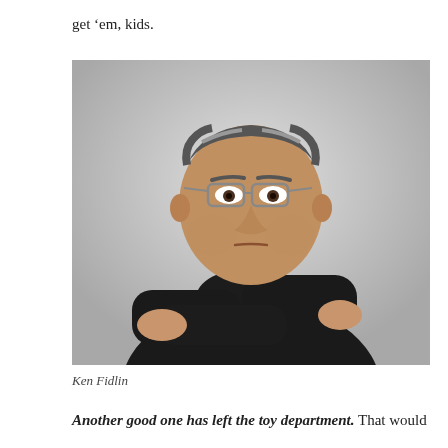get 'em, kids.
[Figure (photo): A heavyset middle-aged man with glasses, wearing a black polo shirt, arms crossed, photographed against a light grey background.]
Ken Fidlin
Another good one has left the toy department. That would